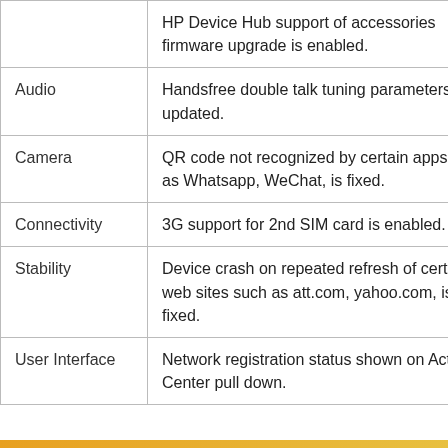| Category | Description |
| --- | --- |
|  | HP Device Hub support of accessories firmware upgrade is enabled. |
| Audio | Handsfree double talk tuning parameters updated. |
| Camera | QR code not recognized by certain apps such as Whatsapp, WeChat, is fixed. |
| Connectivity | 3G support for 2nd SIM card is enabled. |
| Stability | Device crash on repeated refresh of certain web sites such as att.com, yahoo.com, is fixed. |
| User Interface | Network registration status shown on Action Center pull down. |